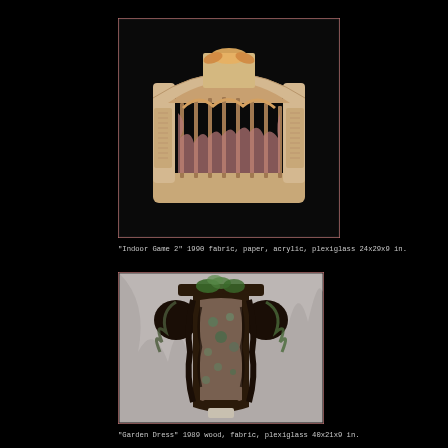[Figure (photo): Sculpture titled 'Indoor Game 2' — a cage-like structure made of fabric, paper, acrylic, and plexiglass, showing gathered fabric inside an arched rectangular enclosure with decorative elements on top, all in cream/tan tones against a black background. Pink border frame around photo.]
"Indoor Game 2" 1990 fabric, paper, acrylic, plexiglass 24x29x9 in.
[Figure (photo): Sculpture titled 'Garden Dress' — a dress-form sculpture made of wood, fabric, and plexiglass, dark brown/black tones with floral fabric inset, puffy sleeves, displayed against a light draped fabric background. Pink border frame around photo.]
"Garden Dress" 1989 wood, fabric, plexiglass 40x21x9 in.